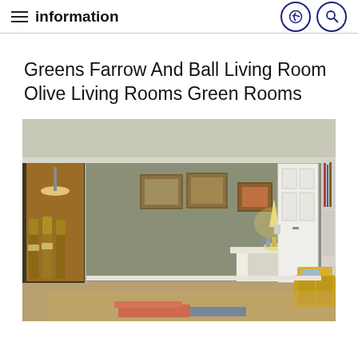information
Greens Farrow And Ball Living Room Olive Living Rooms Green Rooms
[Figure (photo): Interior photo of a living room with olive/sage green walls, a yellow sofa, a white built-in bookcase with glass doors, dining chairs, table lamps on a white fireplace mantel, framed artwork on walls, and books on a coffee table.]